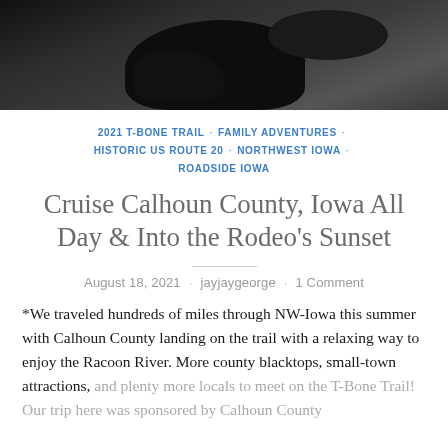[Figure (photo): Dark silhouette photograph of a horse, cropped at the top of the page]
2021 T-BONE TRAIL · FAMILY ADVENTURES · HISTORIC US ROUTE 20 · NORTHWEST IOWA · ROADSIDE IOWA
Cruise Calhoun County, Iowa All Day & Into the Rodeo's Sunset
August 18, 2021 · jayjaygeorge · 1 Comment
*We traveled hundreds of miles through NW-Iowa this summer with Calhoun County landing on the trail with a relaxing way to enjoy the Racoon River. More county blacktops, small-town attractions, and plenty more locals to meet on the T-Bone Trail! Our trip here was sponsored by Calhoun County